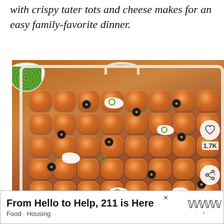with crispy tater tots and cheese makes for an easy family-favorite dinner.
[Figure (photo): A white rectangular baking dish filled with a tater tot casserole topped with black olives, sour cream dollops, and sliced green onions. A small white bowl of sliced green onions is visible in the upper left corner. Social sharing icons (heart and share) are overlaid on the right side of the image with a count of 1.7K.]
From Hello to Help, 211 is Here
Food · Housing